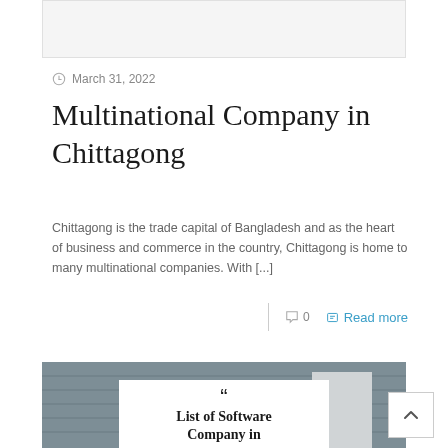[Figure (photo): Top placeholder image box, light gray background]
March 31, 2022
Multinational Company in Chittagong
Chittagong is the trade capital of Bangladesh and as the heart of business and commerce in the country, Chittagong is home to many multinational companies. With [...]
0  Read more
[Figure (photo): Dark gray background image with white overlay card showing quote marks and text 'List of Software Company in']